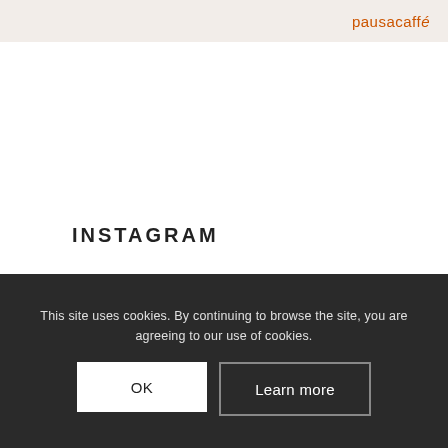[Figure (logo): Banner with pausacaffé logo text in orange on a light beige/cream background]
INSTAGRAM
This site uses cookies. By continuing to browse the site, you are agreeing to our use of cookies.
OK
Learn more